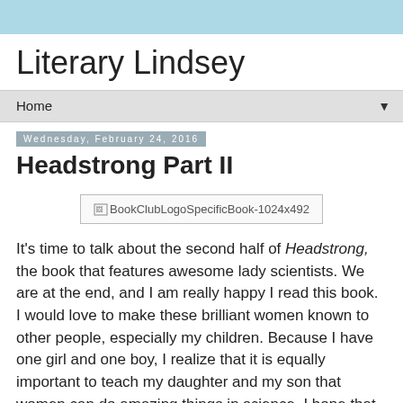Literary Lindsey
Home
Wednesday, February 24, 2016
Headstrong Part II
[Figure (other): Broken image placeholder showing: BookClubLogoSpecificBook-1024x492]
It's time to talk about the second half of Headstrong, the book that features awesome lady scientists. We are at the end, and I am really happy I read this book. I would love to make these brilliant women known to other people, especially my children. Because I have one girl and one boy, I realize that it is equally important to teach my daughter and my son that women can do amazing things in science. I hope that when they read books like this one, they won't be